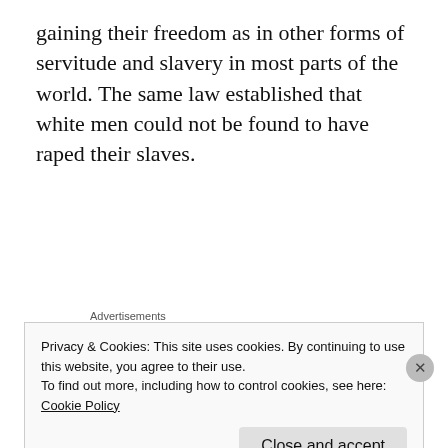gaining their freedom as in other forms of servitude and slavery in most parts of the world. The same law established that white men could not be found to have raped their slaves.
[Figure (other): Automattic advertisement: 'Build a better web and a better world.']
View at Medium.com
Privacy & Cookies: This site uses cookies. By continuing to use this website, you agree to their use.
To find out more, including how to control cookies, see here:
Cookie Policy
Close and accept